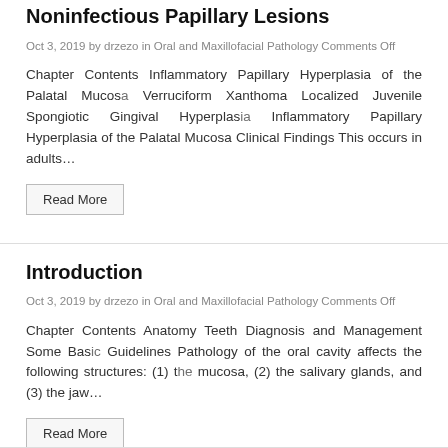Noninfectious Papillary Lesions
Oct 3, 2019 by drzezo in Oral and Maxillofacial Pathology Comments Off
Chapter Contents Inflammatory Papillary Hyperplasia of the Palatal Mucosa Verruciform Xanthoma Localized Juvenile Spongiotic Gingival Hyperplasia Inflammatory Papillary Hyperplasia of the Palatal Mucosa Clinical Findings This occurs in adults…
Read More
Introduction
Oct 3, 2019 by drzezo in Oral and Maxillofacial Pathology Comments Off
Chapter Contents Anatomy Teeth Diagnosis and Management Some Basic Guidelines Pathology of the oral cavity affects the following structures: (1) the mucosa, (2) the salivary glands, and (3) the jaw…
Read More